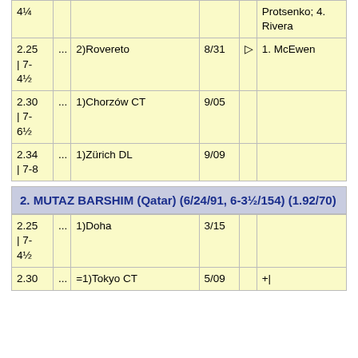| Perf |  | Event | Date |  | Results |
| --- | --- | --- | --- | --- | --- |
| 4¼ |  |  |  |  | Protsenko; 4. Rivera |
| 2.25 | 7-4½ | ... | 2)Rovereto | 8/31 | ▷ | 1. McEwen |
| 2.30 | 7-6½ | ... | 1)Chorzów CT | 9/05 |  |  |
| 2.34 | 7-8 | ... | 1)Zürich DL | 9/09 |  |  |
2. MUTAZ BARSHIM (Qatar) (6/24/91, 6-3½/154) (1.92/70)
| Perf |  | Event | Date |  | Results |
| --- | --- | --- | --- | --- | --- |
| 2.25 | 7-4½ | ... | 1)Doha | 3/15 |  |  |
| 2.30 | ... | =1)Tokyo CT | 5/09 |  | +| |